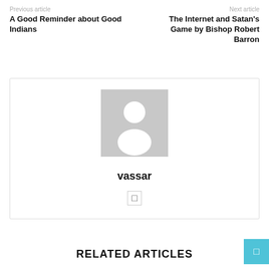Previous article
Next article
A Good Reminder about Good Indians
The Internet and Satan's Game by Bishop Robert Barron
[Figure (illustration): Default user avatar placeholder image — grey background with white silhouette of a person]
vassar
□
RELATED ARTICLES